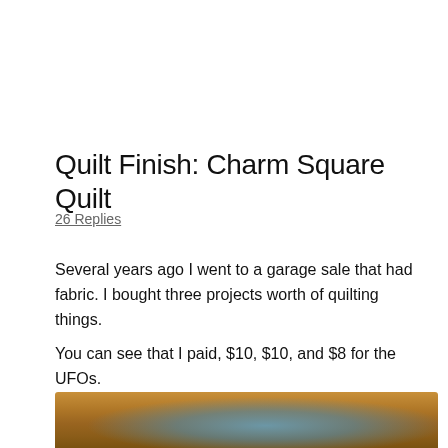Quilt Finish: Charm Square Quilt
26 Replies
Several years ago I went to a garage sale that had fabric.  I bought three projects worth of quilting things.
You can see that I paid, $10, $10, and $8 for the UFOs.
[Figure (photo): A plastic bag containing colorful quilting fabric and a blue grid fabric on a wooden table surface]